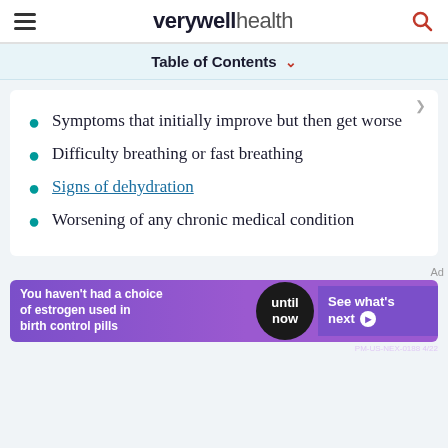verywell health
Table of Contents
Symptoms that initially improve but then get worse
Difficulty breathing or fast breathing
Signs of dehydration
Worsening of any chronic medical condition
[Figure (other): Advertisement banner: 'You haven't had a choice of estrogen used in birth control pills until now. See what's next. PM-US-NEX-0188 4/22']